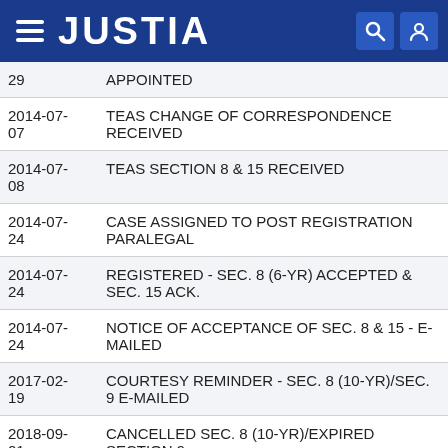JUSTIA
| Date | Description |
| --- | --- |
| 29 | APPOINTED |
| 2014-07-07 | TEAS CHANGE OF CORRESPONDENCE RECEIVED |
| 2014-07-08 | TEAS SECTION 8 & 15 RECEIVED |
| 2014-07-24 | CASE ASSIGNED TO POST REGISTRATION PARALEGAL |
| 2014-07-24 | REGISTERED - SEC. 8 (6-YR) ACCEPTED & SEC. 15 ACK. |
| 2014-07-24 | NOTICE OF ACCEPTANCE OF SEC. 8 & 15 - E-MAILED |
| 2017-02-19 | COURTESY REMINDER - SEC. 8 (10-YR)/SEC. 9 E-MAILED |
| 2018-09-... | CANCELLED SEC. 8 (10-YR)/EXPIRED SECTION 9 |